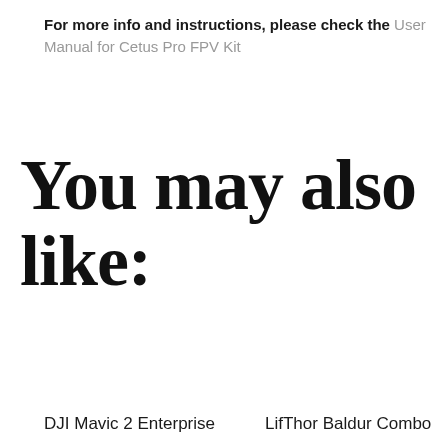For more info and instructions, please check the User Manual for Cetus Pro FPV Kit
You may also like:
DJI Mavic 2 Enterprise
LifThor Baldur Combo